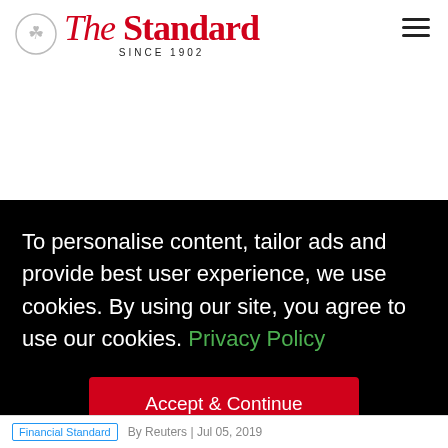The Standard SINCE 1902
To personalise content, tailor ads and provide best user experience, we use cookies. By using our site, you agree to use our cookies. Privacy Policy
Accept & Continue
Financial Standard | By Reuters | Jul 05, 2019